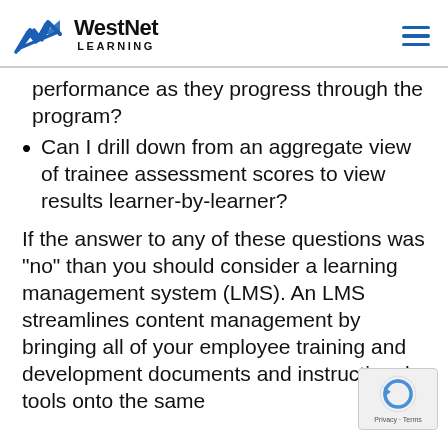WestNet LEARNING
performance as they progress through the program?
Can I drill down from an aggregate view of trainee assessment scores to view results learner-by-learner?
If the answer to any of these questions was “no” than you should consider a learning management system (LMS). An LMS streamlines content management by bringing all of your employee training and development documents and instructional tools onto the same